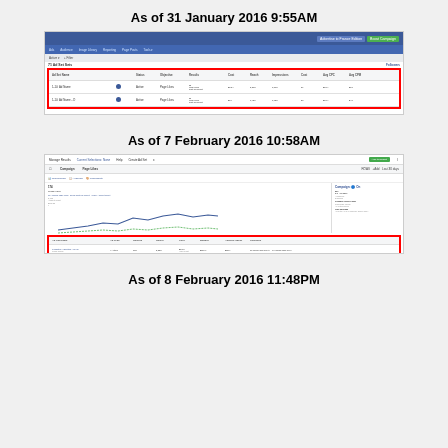As of 31 January 2016 9:55AM
[Figure (screenshot): Facebook Ads Manager screenshot showing ad set table with two rows highlighted in red border, dated 31 January 2016]
As of 7 February 2016 10:58AM
[Figure (screenshot): Facebook Page Likes campaign dashboard screenshot with line chart and table showing results, dated 7 February 2016, with red border highlighting table rows]
As of 8 February 2016 11:48PM